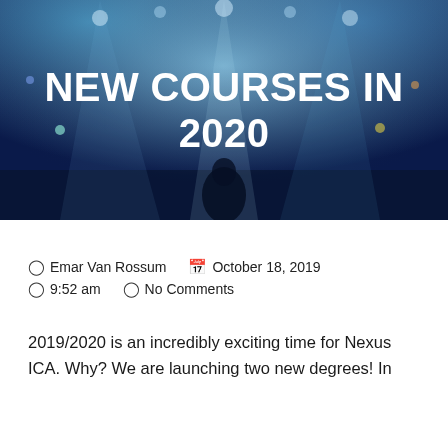[Figure (photo): Dark blue concert/event stage with spotlights and blurred background, serving as hero image background]
NEW COURSES IN 2020
Emar Van Rossum   October 18, 2019
9:52 am   No Comments
2019/2020 is an incredibly exciting time for Nexus ICA. Why? We are launching two new degrees! In